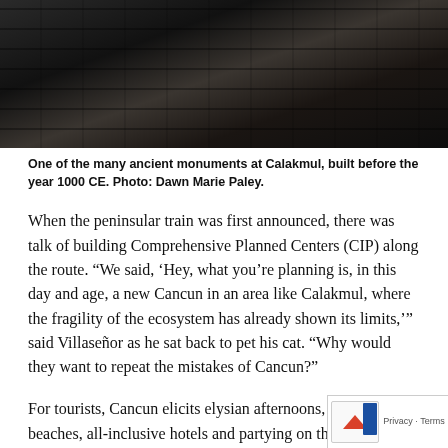[Figure (photo): Dark photograph of ancient stone monuments at Calakmul, showing stacked stone blocks with light and shadow highlights]
One of the many ancient monuments at Calakmul, built before the year 1000 CE. Photo: Dawn Marie Paley.
When the peninsular train was first announced, there was talk of building Comprehensive Planned Centers (CIP) along the route. “We said, ‘Hey, what you’re planning is, in this day and age, a new Cancun in an area like Calakmul, where the fragility of the ecosystem has already shown its limits,’” said Villaseñor as he sat back to pet his cat. “Why would they want to repeat the mistakes of Cancun?”
For tourists, Cancun elicits elysian afternoons, white sand beaches, all-inclusive hotels and partying on the strip. But for many who live in smaller towns and communities near Cancun, the word is synonymous with inequality, exploitation,